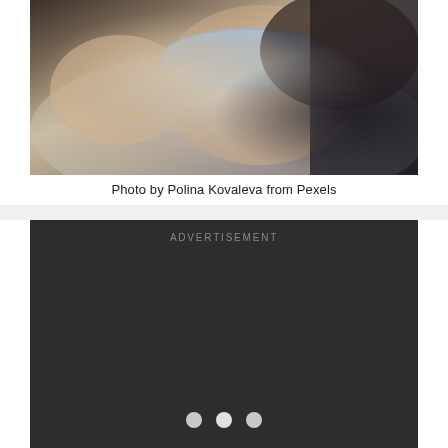[Figure (photo): A person lying down sleeping with a blue/lavender satin eye mask covering their eyes, resting their hand near their face on a pillow. Dark hair visible, wearing dark clothing.]
Photo by Polina Kovaleva from Pexels
[Figure (other): Advertisement panel with dark background showing the text ADVERTISEMENT and three navigation dots at the bottom.]